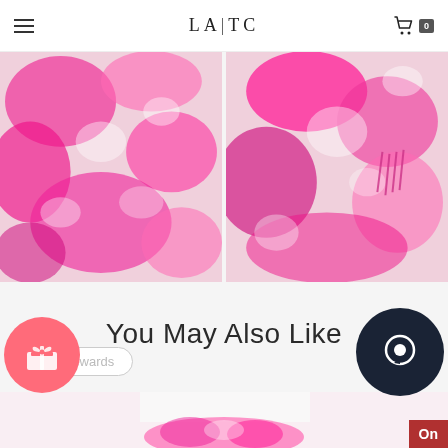LA|TC
[Figure (photo): Two side-by-side photos of a model wearing a pink tie-dye loungewear set (top and pants). Left photo shows front/side view; right photo shows back view with drawstring detail.]
You May Also Like
[Figure (photo): Partial preview of a model wearing white top with pink tie-dye shorts/skirt, cropped at bottom of page.]